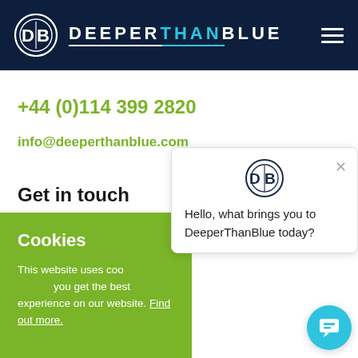[Figure (logo): DeeperThanBlue logo with circular DB icon in white on dark navy background, with brand name DEEPERTHANBLUE in white/cyan letters]
+44 (0)114 399 2820
info@deeperthanblue.com
Get in touch
Cookies
This website uses coo... you get the best experience on our website. Find out more.
[Figure (screenshot): Chat popup with DeeperThanBlue logo icon and message: Hello, what brings you to DeeperThanBlue today? with close X button]
Last name*